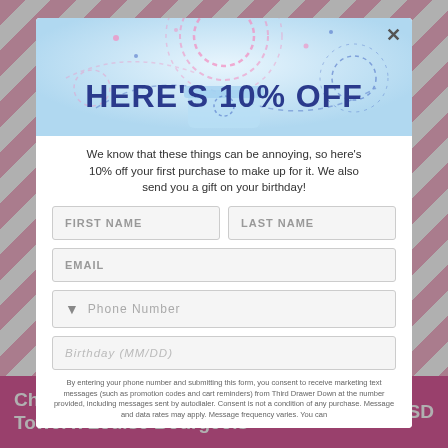[Figure (screenshot): Pink and white chevron background pattern behind a product page for Champfleurette #2 Tea Towel]
HERE'S 10% OFF
We know that these things can be annoying, so here's 10% off your first purchase to make up for it. We also send you a gift on your birthday!
FIRST NAME
LAST NAME
EMAIL
Phone Number
Birthday (MM/DD)
By entering your phone number and submitting this form, you consent to receive marketing text messages (such as promotion codes and cart reminders) from Third Drawer Down at the number provided, including messages sent by autodialer. Consent is not a condition of any purchase. Message and data rates may apply. Message frequency varies. You can
Champfleurette #2 Tea Towel x Louise Bourgeois
$38.00 USD